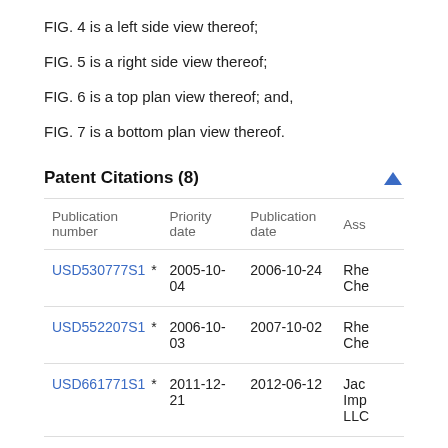FIG. 4 is a left side view thereof;
FIG. 5 is a right side view thereof;
FIG. 6 is a top plan view thereof; and,
FIG. 7 is a bottom plan view thereof.
Patent Citations (8)
| Publication number | Priority date | Publication date | Ass |
| --- | --- | --- | --- |
| USD530777S1 * | 2005-10-04 | 2006-10-24 | Rhe
Che |
| USD552207S1 * | 2006-10-03 | 2007-10-02 | Rhe
Che |
| USD661771S1 * | 2011-12-21 | 2012-06-12 | Jac
Imp
LLC |
| USD731612S1 * | 2014-04-07 | 2015-06-09 | Life
Yin |